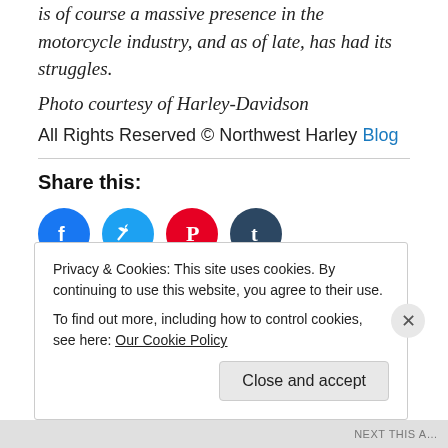is of course a massive presence in the motorcycle industry, and as of late, has had its struggles.
Photo courtesy of Harley-Davidson
All Rights Reserved © Northwest Harley Blog
Share this:
[Figure (infographic): Four social media share icons: Facebook (blue), Twitter (cyan), Pinterest (red), Tumblr (dark blue)]
Loading
Privacy & Cookies: This site uses cookies. By continuing to use this website, you agree to their use.
To find out more, including how to control cookies, see here: Our Cookie Policy
Close and accept